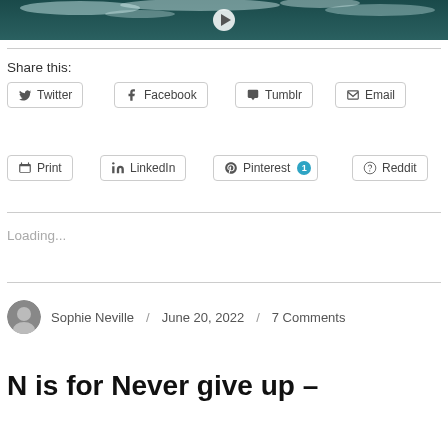[Figure (photo): Aerial or overhead view of dark ocean waves with white foam, teal/dark tones, cropped at top of page]
Share this:
Twitter
Facebook
Tumblr
Email
Print
LinkedIn
Pinterest 1
Reddit
Loading...
Sophie Neville / June 20, 2022 / 7 Comments
N is for Never give up –